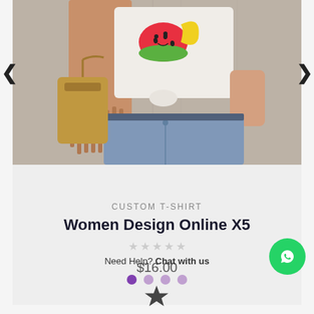[Figure (photo): Product photo of a woman wearing a white custom t-shirt with a cartoon fruit design (watermelon and banana characters with sunglasses), a tan fringe jacket/shawl, light blue jeans, and holding a tan leather handbag. Background is a light wood-grain wall.]
CUSTOM T-SHIRT
Women Design Online X5
$16.00
Need Help? Chat with us